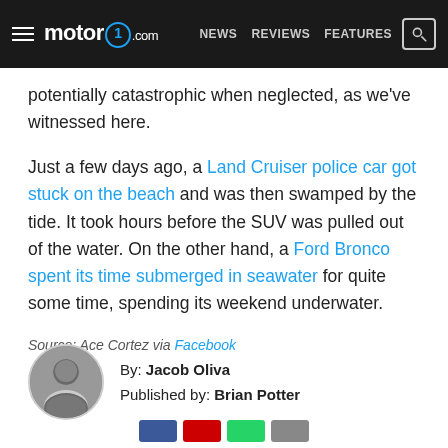motor1.com | NEWS | REVIEWS | FEATURES
potentially catastrophic when neglected, as we've witnessed here.
Just a few days ago, a Land Cruiser police car got stuck on the beach and was then swamped by the tide. It took hours before the SUV was pulled out of the water. On the other hand, a Ford Bronco spent its time submerged in seawater for quite some time, spending its weekend underwater.
Source: Ace Cortez via Facebook
By: Jacob Oliva
Published by: Brian Potter